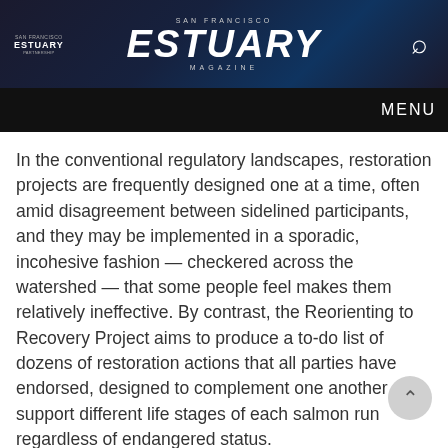SAN FRANCISCO ESTUARY MAGAZINE
In the conventional regulatory landscapes, restoration projects are frequently designed one at a time, often amid disagreement between sidelined participants, and they may be implemented in a sporadic, incohesive fashion — checkered across the watershed — that some people feel makes them relatively ineffective. By contrast, the Reorienting to Recovery Project aims to produce a to-do list of dozens of restoration actions that all parties have endorsed, designed to complement one another and support different life stages of each salmon run regardless of endangered status.